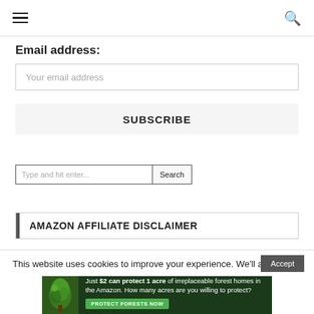Navigation header with hamburger menu and search icon
Email address:
Your email address
SUBSCRIBE
Type and hit enter...
Search
AMAZON AFFILIATE DISCLAIMER
This website uses cookies to improve your experience. We'll assume
[Figure (infographic): Ad banner: Just $2 can protect 1 acre of irreplaceable forest homes in the Amazon. How many acres are you willing to protect? PROTECT FORESTS NOW]